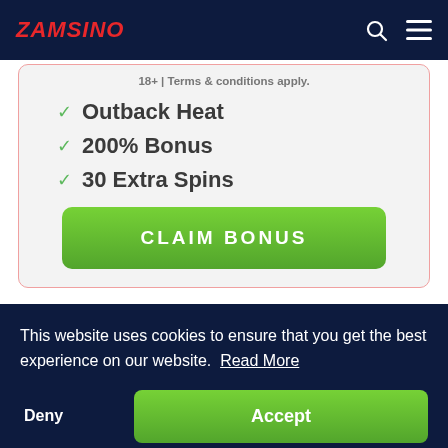ZAMSINO
18+ | Terms & conditions apply.
Outback Heat
200% Bonus
30 Extra Spins
CLAIM BONUS
This website uses cookies to ensure that you get the best experience on our website. Read More
Deny
Accept
Code: 25CHESS